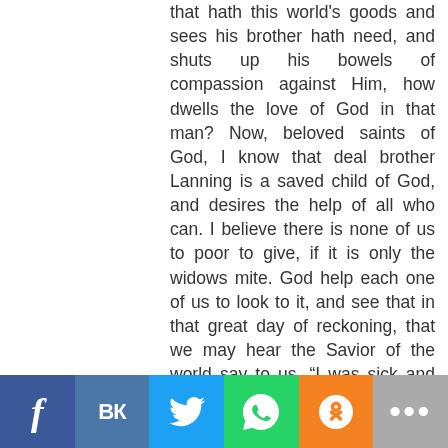that hath this world's goods and sees his brother hath need, and shuts up his bowels of compassion against Him, how dwells the love of God in that man? Now, beloved saints of God, I know that deal brother Lanning is a saved child of God, and desires the help of all who can. I believe there is none of us to poor to give, if it is only the widows mite. God help each one of us to look to it, and see that in that great day of reckoning, that we may hear the Savior of the world say to us, “I was sick and ye visited me, hungry and ye fed me, naked and ye clothed me: and when we ask when we saw Him thus, peradventure He may say, In as much as ye did it unto Bro. Lainning, ye did it unto Me. Oh I do praise God for the wonderful things He hath done for me, and most of all, for the saving of my soul and His
[Figure (other): Social sharing bar with icons for Facebook, VK, Twitter, WhatsApp, Odnoklassniki, and a more (ellipsis) button]